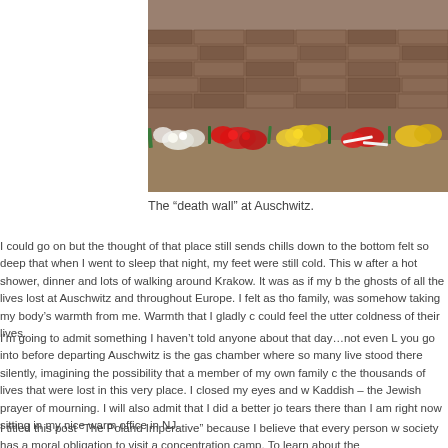[Figure (photo): Photograph of the 'death wall' at Auschwitz concentration camp, showing flowers and wreaths laid against a brick wall.]
The “death wall” at Auschwitz.
I could go on but the thought of that place still sends chills down to the bottom felt so deep that when I went to sleep that night, my feet were still cold. This w after a hot shower, dinner and lots of walking around Krakow. It was as if my b the ghosts of all the lives lost at Auschwitz and throughout Europe. I felt as tho family, was somehow taking my body’s warmth from me. Warmth that I gladly c could feel the utter coldness of their lives.
I’m going to admit something I haven’t told anyone about that day…not even L you go into before departing Auschwitz is the gas chamber where so many live stood there silently, imagining the possibility that a member of my own family c the thousands of lives that were lost in this very place. I closed my eyes and w Kaddish – the Jewish prayer of mourning. I will also admit that I did a better jo tears there than I am right now sitting in my nice warm office in NJ.
I titled this post “The Poland Imperative” because I believe that every person w society has a moral obligation to visit a concentration camp. To learn about the atrocities that were committed. Not just to Poland, not just to Jews, but to...